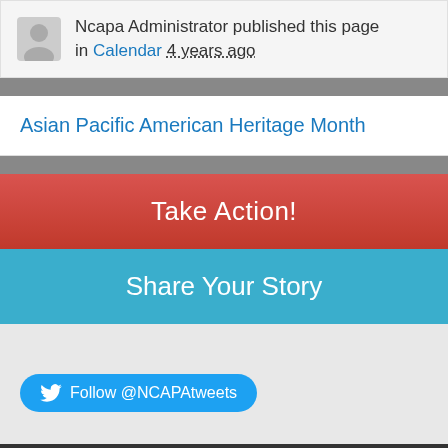Ncapa Administrator published this page in Calendar 4 years ago
Asian Pacific American Heritage Month
Take Action!
Share Your Story
Follow @NCAPAtweets
National Council of Asian Pacific Americans 1629 K Street NW